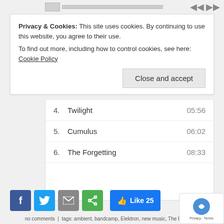Privacy & Cookies: This site uses cookies. By continuing to use this website, you agree to their use. To find out more, including how to control cookies, see here: Cookie Policy
Close and accept
4.  Twilight  05:56
5.  Cumulus  06:02
6.  The Forgetting  08:33
[Figure (screenshot): Social share buttons: Facebook, Twitter, Email, Share (green), and a Facebook Like button showing 25 likes]
no comments  |  tags: ambient, bandcamp, Elektron, new music, The Forgetting, Digitone, Monochrome Echo, Music